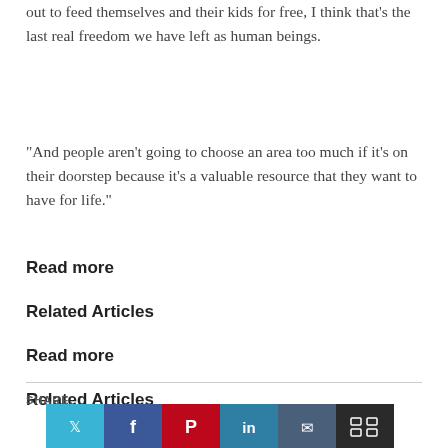out to feed themselves and their kids for free, I think that's the last real freedom we have left as human beings.
“And people aren’t going to choose an area too much if it’s on their doorstep because it’s a valuable resource that they want to have for life.”
Read more
Related Articles
Read more
Related Articles
SHARE.
[Figure (other): Social share buttons: Twitter (blue), Facebook (dark blue), Pinterest (red), LinkedIn (teal), WhatsApp/share (navy), More (dark/black with grid icon)]